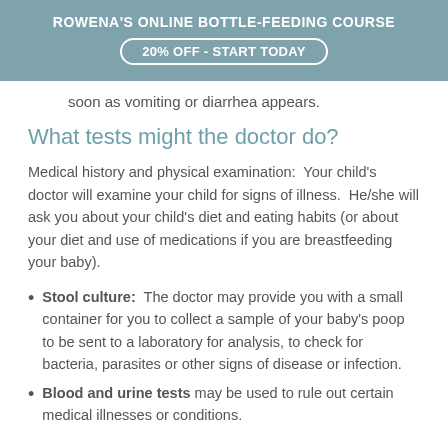ROWENA'S ONLINE BOTTLE-FEEDING COURSE
20% OFF - START TODAY
soon as vomiting or diarrhea appears.
What tests might the doctor do?
Medical history and physical examination:  Your child's doctor will examine your child for signs of illness.  He/she will ask you about your child's diet and eating habits (or about your diet and use of medications if you are breastfeeding your baby).
Stool culture:  The doctor may provide you with a small container for you to collect a sample of your baby's poop to be sent to a laboratory for analysis, to check for bacteria, parasites or other signs of disease or infection.
Blood and urine tests may be used to rule out certain medical illnesses or conditions.